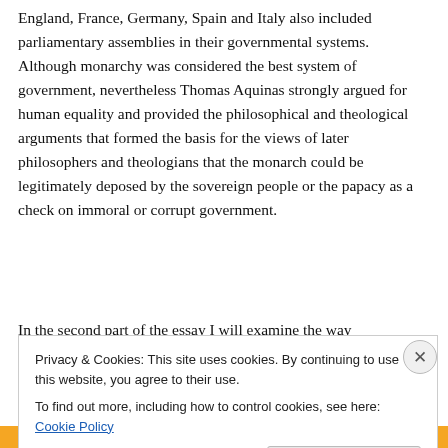England, France, Germany, Spain and Italy also included parliamentary assemblies in their governmental systems. Although monarchy was considered the best system of government, nevertheless Thomas Aquinas strongly argued for human equality and provided the philosophical and theological arguments that formed the basis for the views of later philosophers and theologians that the monarch could be legitimately deposed by the sovereign people or the papacy as a check on immoral or corrupt government.
In the second part of the essay I will examine the way...
Privacy & Cookies: This site uses cookies. By continuing to use this website, you agree to their use.
To find out more, including how to control cookies, see here: Cookie Policy
Close and accept